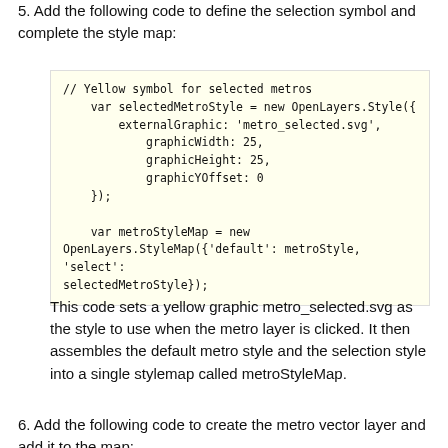5. Add the following code to define the selection symbol and complete the style map:
// Yellow symbol for selected metros
    var selectedMetroStyle = new OpenLayers.Style({
        externalGraphic: 'metro_selected.svg',
            graphicWidth: 25,
            graphicHeight: 25,
            graphicYOffset: 0
    });

    var metroStyleMap = new
OpenLayers.StyleMap({'default': metroStyle, 'select':
selectedMetroStyle});
This code sets a yellow graphic metro_selected.svg as the style to use when the metro layer is clicked. It then assembles the default metro style and the selection style into a single stylemap called metroStyleMap.
6. Add the following code to create the metro vector layer and add it to the map: